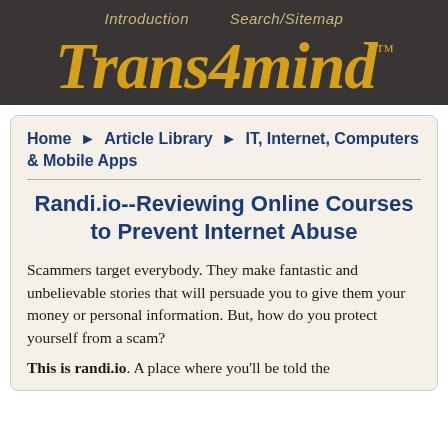Introduction   Search/Sitemap
Trans4mind™
Home ► Article Library ► IT, Internet, Computers & Mobile Apps
Randi.io--Reviewing Online Courses to Prevent Internet Abuse
Scammers target everybody. They make fantastic and unbelievable stories that will persuade you to give them your money or personal information. But, how do you protect yourself from a scam?
This is randi.io. A place where you'll be told the